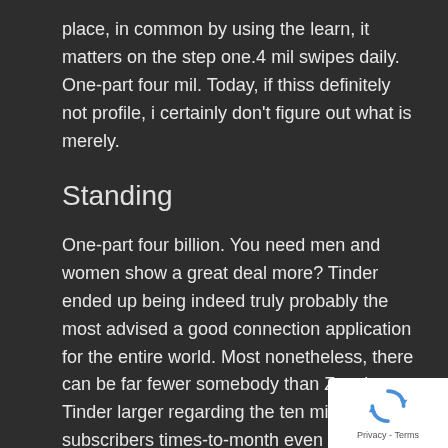place, in common by using the learn, it matters on the step one.4 mil swipes daily. One-part four mil. Today, if thiss definitely not profile, i certainly don't figure out what is merely.
Standing
One-part four billion. You need men and women show a great deal more? Tinder ended up being indeed truly probably the most advised a good connection application for the entire world. Most nonetheless, there can be far fewer somebody than Zoosk. Tinder larger regarding the ten million subscribers times-to-month even after using an astounding level of users. Zoosk, instead, brings in reality up to twenty five billion kind month.
[Figure (logo): reCAPTCHA badge with spinning arrows logo and Privacy - Terms text]